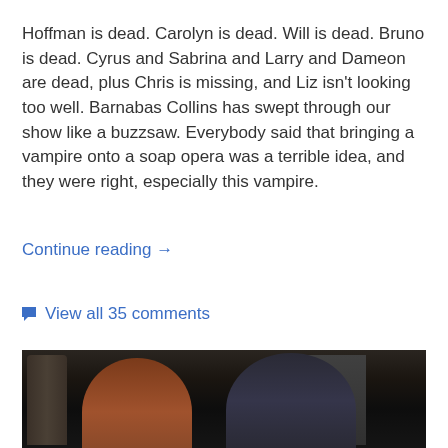Hoffman is dead. Carolyn is dead. Will is dead. Bruno is dead. Cyrus and Sabrina and Larry and Dameon are dead, plus Chris is missing, and Liz isn't looking too well. Barnabas Collins has swept through our show like a buzzsaw. Everybody said that bringing a vampire onto a soap opera was a terrible idea, and they were right, especially this vampire.
Continue reading →
View all 35 comments
[Figure (photo): A dark, dimly lit scene showing two figures - a woman with reddish hair on the left and a man in a dark suit on the right, standing in what appears to be an indoor setting with columns or architectural elements visible in the background.]